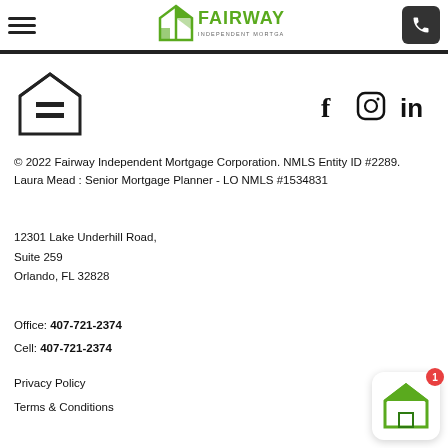[Figure (logo): Fairway Independent Mortgage Corporation logo with green house/flag icon]
[Figure (illustration): Equal Housing Opportunity logo — house outline with equal sign]
[Figure (illustration): Social media icons: Facebook (f), Instagram (circle camera), LinkedIn (in)]
© 2022 Fairway Independent Mortgage Corporation. NMLS Entity ID #2289.
Laura Mead : Senior Mortgage Planner - LO NMLS #1534831
12301 Lake Underhill Road,
Suite 259
Orlando, FL 32828
Office: 407-721-2374
Cell: 407-721-2374
Privacy Policy
Terms & Conditions
[Figure (logo): Fairway chat widget with green house logo and red notification badge showing 1]